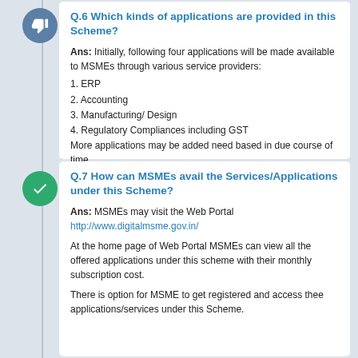Q.6 Which kinds of applications are provided in this Scheme?
Ans: Initially, following four applications will be made available to MSMEs through various service providers:
1. ERP
2. Accounting
3. Manufacturing/ Design
4. Regulatory Compliances including GST
More applications may be added need based in due course of time.
Q.7 How can MSMEs avail the Services/Applications under this Scheme?
Ans: MSMEs may visit the Web Portal http://www.digitalmsme.gov.in/
At the home page of Web Portal MSMEs can view all the offered applications under this scheme with their monthly subscription cost.
There is option for MSME to get registered and access thee applications/services under this Scheme.